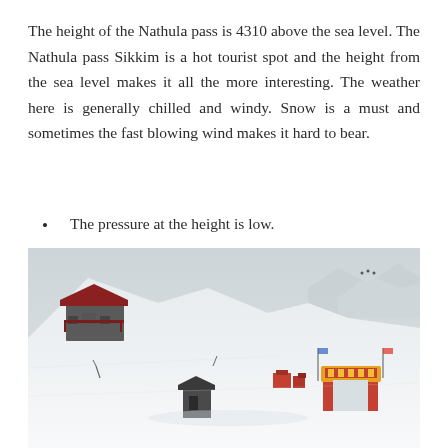The height of the Nathula pass is 4310 above the sea level. The Nathula pass Sikkim is a hot tourist spot and the height from the sea level makes it all the more interesting. The weather here is generally chilled and windy. Snow is a must and sometimes the fast blowing wind makes it hard to bear.
The pressure at the height is low.
The Indian army deployed at the Nathula pass Sikkim fills the heart with pride and respect.
[Figure (photo): Photograph of Nathula Pass in Sikkim showing snow-covered hills with a red-roofed building on the left, small structures scattered across the snowy landscape, a colorful gate/arch structure in the middle-right area, and overcast sky with snow-covered mountains in the background.]